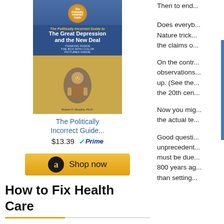[Figure (illustration): Book cover for The Politically Incorrect Guide to the Great Depression and the New Deal]
The Politically Incorrect Guide...
$13.39  Prime
[Figure (other): Amazon Shop now button]
How to Fix Health Care
[Figure (logo): Amazon logo with smile]
[Figure (illustration): Book cover for The Primal Prescription: Surviving the 'New Care' Disorder]
Then to end...
Does everyb... Nature trick... the claims o...
On the contr... observations... up. (See the... the 20th cen...
Now you mig... the actual te...
Good questi... unprecedent... must be due... 800 years ag... than setting...